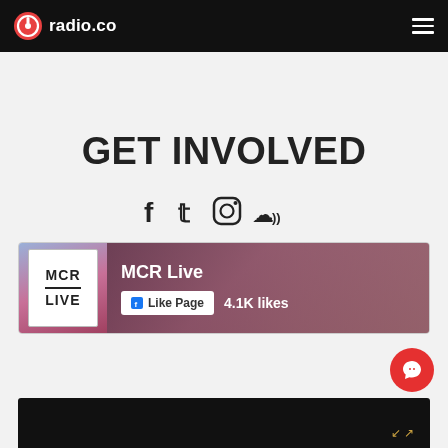radio.co
GET INVOLVED
[Figure (infographic): Social media icons row: Facebook, Twitter, Instagram, SoundCloud]
[Figure (screenshot): Facebook page widget for MCR Live showing logo, Like Page button, and 4.1K likes]
[Figure (screenshot): Bottom dark bar with expand icon, partial screenshot of another widget]